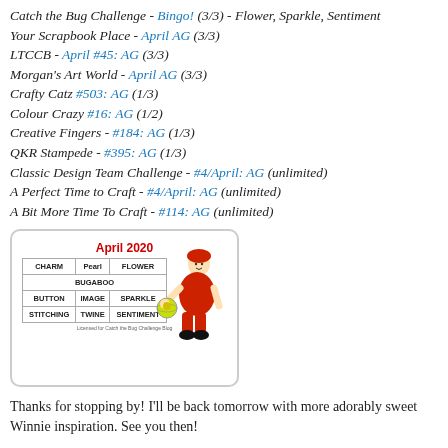Catch the Bug Challenge - Bingo! (3/3) - Flower, Sparkle, Sentiment
Your Scrapbook Place - April AG (3/3)
LTCCB - April #45: AG (3/3)
Morgan's Art World - April AG (3/3)
Crafty Catz #503: AG (1/3)
Colour Crazy #16: AG (1/2)
Creative Fingers - #184: AG (1/3)
QKR Stampede - #395: AG (1/3)
Classic Design Team Challenge - #4/April: AG (unlimited)
A Perfect Time to Craft - #4/April: AG (unlimited)
A Bit More Time To Craft - #114: AG (unlimited)
[Figure (other): Bingo card for April 2020 with a cartoon character in a red outfit. The bingo card has a 3x3 grid with entries: CHARM, Pearl, FLOWER, BUGABOO, BUTTON, IMAGE, SPARKLE, STITCHING, TWINE, SENTIMENT. Title reads 'April 2020' in red.]
Thanks for stopping by! I'll be back tomorrow with more adorably sweet Winnie inspiration. See you then!